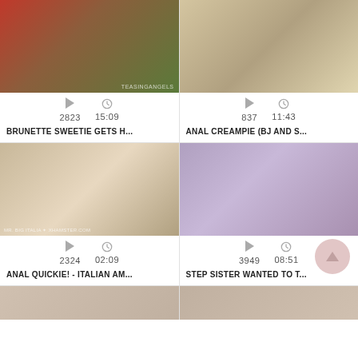[Figure (photo): Video thumbnail 1 - outdoor scene]
2823   15:09
BRUNETTE SWEETIE GETS H...
[Figure (photo): Video thumbnail 2]
837   11:43
ANAL CREAMPIE (BJ AND S...
[Figure (photo): Video thumbnail 3]
2324   02:09
ANAL QUICKIE! - ITALIAN AM...
[Figure (photo): Video thumbnail 4]
3949   08:51
STEP SISTER WANTED TO T...
[Figure (photo): Video thumbnail 5 - partial]
[Figure (photo): Video thumbnail 6 - partial]